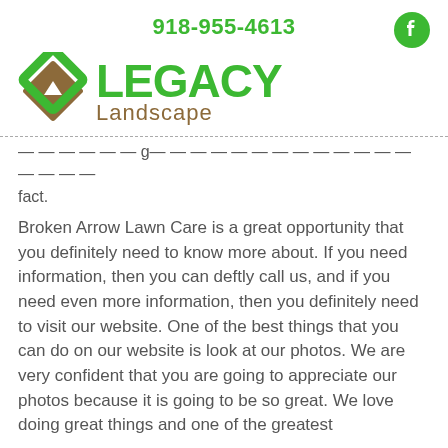918-955-4613
[Figure (logo): Legacy Landscape logo with green diamond/checkmark icon and brown diamond shape, green bold text LEGACY and brown text Landscape]
...do absolutely great things for you and more — fact.
Broken Arrow Lawn Care is a great opportunity that you definitely need to know more about. If you need information, then you can deftly call us, and if you need even more information, then you definitely need to visit our website. One of the best things that you can do on our website is look at our photos. We are very confident that you are going to appreciate our photos because it is going to be so great. We love doing great things and one of the greatest